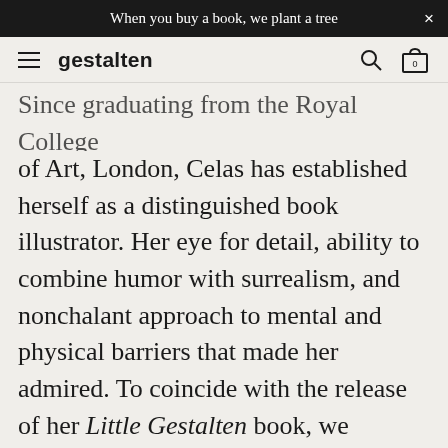When you buy a book, we plant a tree
gestalten
Since graduating from the Royal College of Art, London, Celas has established herself as a distinguished book illustrator. Her eye for detail, ability to combine humor with surrealism, and nonchalant approach to mental and physical barriers that made her admired. To coincide with the release of her Little Gestalten book, we decided to traverse through a selection of her illustrations featured in the book.
Available in German and English. Find